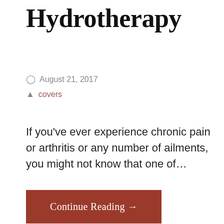Hydrotherapy
August 21, 2017
covers
If you've ever experience chronic pain or arthritis or any number of ailments, you might not know that one of…
Continue Reading →
Posted in: Hot Tub Covers